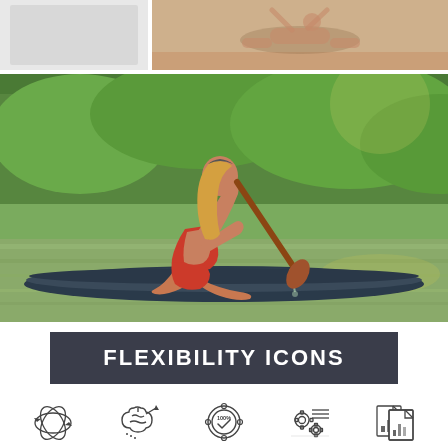[Figure (photo): Top-left partial photo, light gray/white background - cropped image]
[Figure (photo): Top-right photo of a person doing yoga/stretching on a wooden floor]
[Figure (photo): Main large photo of a woman in red swimsuit kneeling on a stand-up paddleboard on a green river, holding a paddle]
FLEXIBILITY ICONS
[Figure (infographic): Row of five outline icons related to flexibility: interconnected arrows/atom, brain with arrow, badge/medal with 100%, gear with list, bar chart with document]